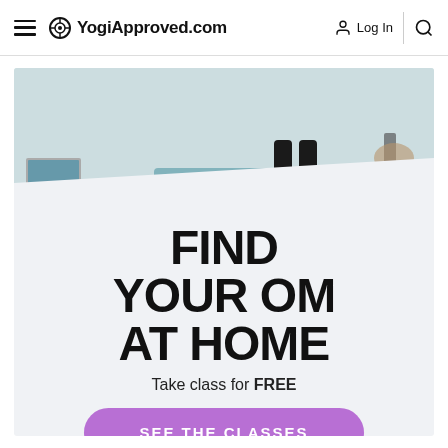YogiApproved.com  Log In
[Figure (screenshot): YogiApproved.com advertisement banner showing a person standing on a yoga mat with a laptop. Text reads: FIND YOUR OM AT HOME. Take class for FREE. Button: SEE THE CLASSES.]